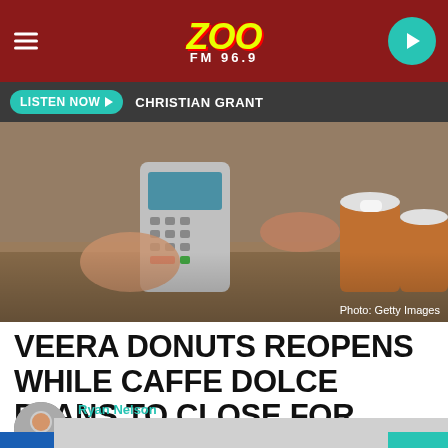ZOO FM 96.9
LISTEN NOW  CHRISTIAN GRANT
[Figure (photo): Person handing over a payment terminal at a café counter, with takeaway coffee cups visible. Photo: Getty Images]
VEERA DONUTS REOPENS WHILE CAFFE DOLCE PLANS TO CLOSE FOR WINTER
Ryan Nelson
Published: November 12, 2020